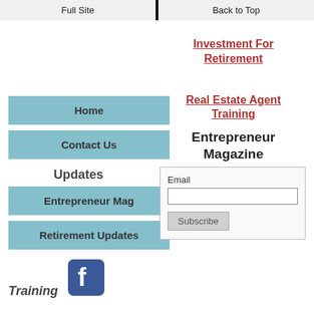Full Site | Back to Top
Investment For Retirement
Real Estate Agent Training
Home
Contact Us
Updates
Entrepreneur Mag
Retirement Updates
Entrepreneur Magazine
Email
Subscribe
Training
[Figure (logo): Facebook logo icon button]